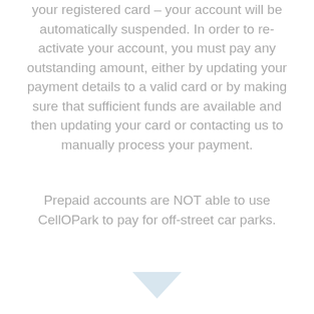your registered card – your account will be automatically suspended. In order to re-activate your account, you must pay any outstanding amount, either by updating your payment details to a valid card or by making sure that sufficient funds are available and then updating your card or contacting us to manually process your payment.
Prepaid accounts are NOT able to use CellOPark to pay for off-street car parks.